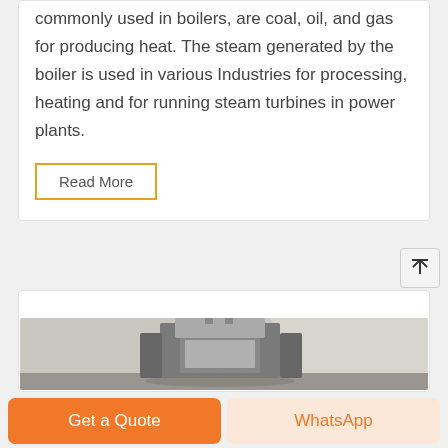commonly used in boilers, are coal, oil, and gas for producing heat. The steam generated by the boiler is used in various Industries for processing, heating and for running steam turbines in power plants.
Read More
[Figure (photo): Industrial boiler machine photographed from below/front angle in a facility room]
Get a Quote
WhatsApp